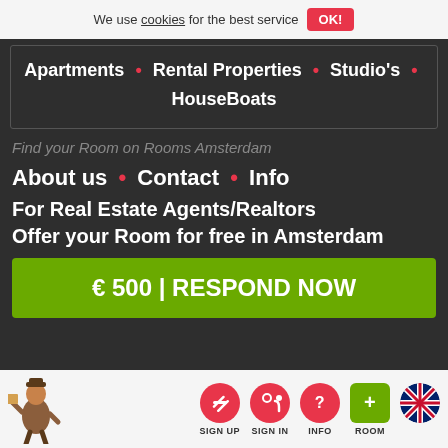We use cookies for the best service OK!
Apartments • Rental Properties • Studio's • HouseBoats
Find your Room on Rooms Amsterdam
About us • Contact • Info
For Real Estate Agents/Realtors
Offer your Room for free in Amsterdam
€ 500 | RESPOND NOW
SIGN UP  SIGN IN  INFO  ROOM